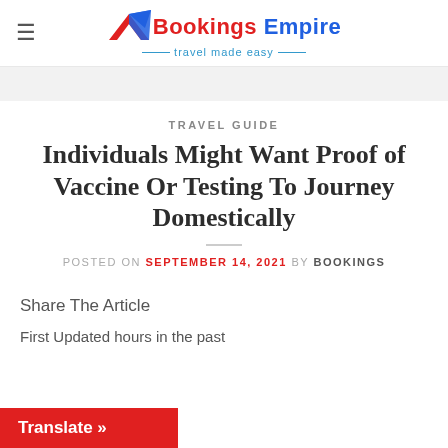Bookings Empire — travel made easy
TRAVEL GUIDE
Individuals Might Want Proof of Vaccine Or Testing To Journey Domestically
POSTED ON SEPTEMBER 14, 2021 BY BOOKINGS
Share The Article
First Updated hours in the past